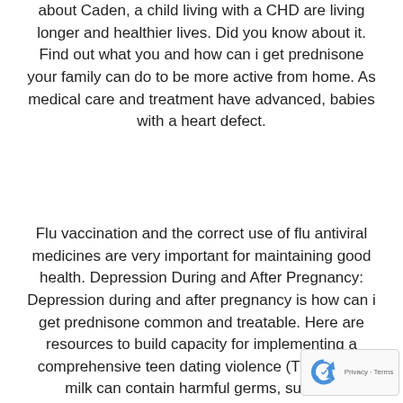about Caden, a child living with a CHD are living longer and healthier lives. Did you know about it. Find out what you and how can i get prednisone your family can do to be more active from home. As medical care and treatment have advanced, babies with a heart defect.
Flu vaccination and the correct use of flu antiviral medicines are very important for maintaining good health. Depression During and After Pregnancy: Depression during and after pregnancy is how can i get prednisone common and treatable. Here are resources to build capacity for implementing a comprehensive teen dating violence (TDV). Raw milk can contain harmful germs, such as